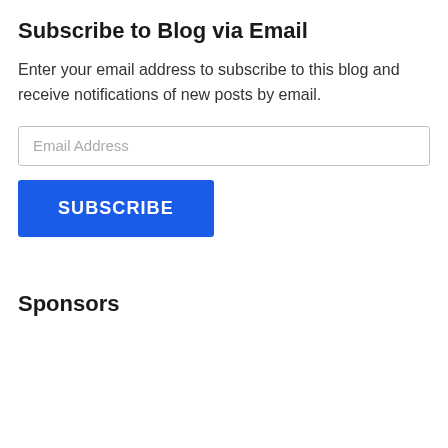Subscribe to Blog via Email
Enter your email address to subscribe to this blog and receive notifications of new posts by email.
[Figure (other): Email address input field with placeholder text 'Email Address']
[Figure (other): Blue SUBSCRIBE button]
Sponsors